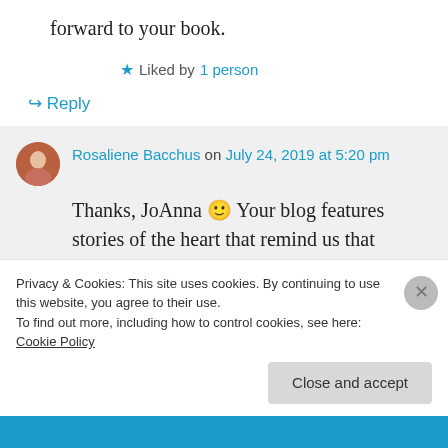forward to your book.
★ Liked by 1 person
↪ Reply
Rosaliene Bacchus on July 24, 2019 at 5:20 pm
Thanks, JoAnna 🙂 Your blog features stories of the heart that remind us that goodness exists among us. We've got to
Privacy & Cookies: This site uses cookies. By continuing to use this website, you agree to their use.
To find out more, including how to control cookies, see here: Cookie Policy
Close and accept